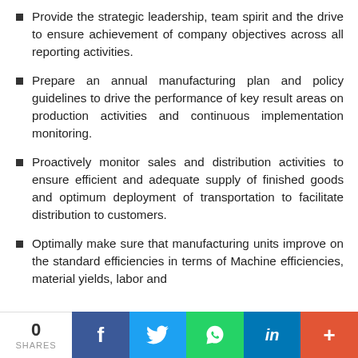Provide the strategic leadership, team spirit and the drive to ensure achievement of company objectives across all reporting activities.
Prepare an annual manufacturing plan and policy guidelines to drive the performance of key result areas on production activities and continuous implementation monitoring.
Proactively monitor sales and distribution activities to ensure efficient and adequate supply of finished goods and optimum deployment of transportation to facilitate distribution to customers.
Optimally make sure that manufacturing units improve on the standard efficiencies in terms of Machine efficiencies, material yields, labor and